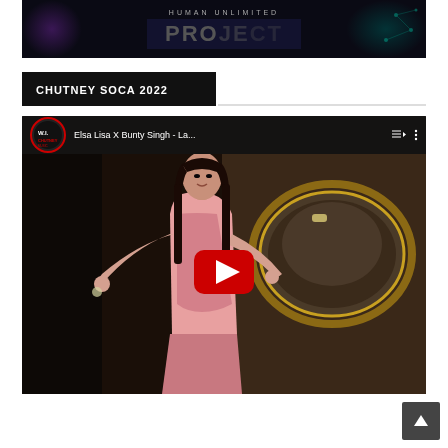[Figure (screenshot): YouTube video thumbnail showing dark background with text HUMAN UNLIMITED and PROJECT partially visible, with purple and teal color accents]
CHUTNEY SOCA 2022
[Figure (screenshot): YouTube video embed showing Elsa Lisa X Bunty Singh - La... with a woman in a pink sequin dress, red play button in center, channel logo WI Chutney Music top left]